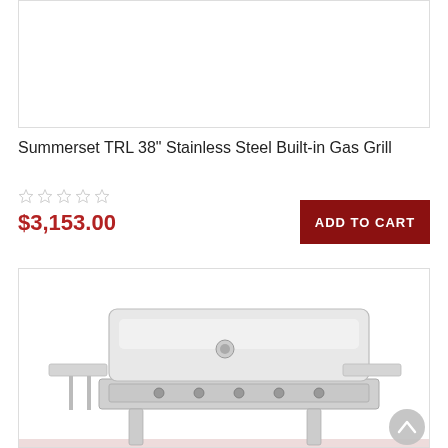[Figure (photo): Product image placeholder box, white/empty with light border]
Summerset TRL 38" Stainless Steel Built-in Gas Grill
[Figure (other): Five empty star rating icons in light gray/outline style]
$3,153.00
ADD TO CART
[Figure (photo): Photo of a stainless steel built-in gas grill with closed lid, showing knobs and a chrome finish, partial view]